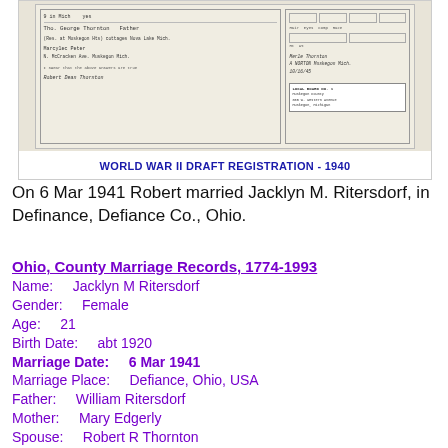[Figure (photo): Scanned image of a World War II Draft Registration card from 1940, showing handwritten entries with fields for name, address, and other registration details. The card is partially visible with two overlapping panels.]
WORLD WAR II DRAFT REGISTRATION - 1940
On 6 Mar 1941 Robert married Jacklyn M. Ritersdorf, in Definance, Defiance Co., Ohio.
Ohio, County Marriage Records, 1774-1993
Name:    Jacklyn M Ritersdorf
Gender:    Female
Age:    21
Birth Date:    abt 1920
Marriage Date:    6 Mar 1941
Marriage Place:    Defiance, Ohio, USA
Father:    William Ritersdorf
Mother:    Mary Edgerly
Spouse:    Robert R Thornton